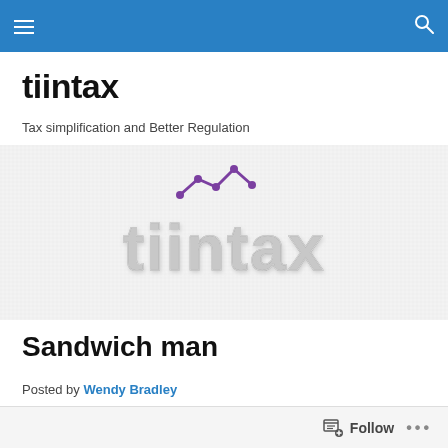tiintax navigation bar
tiintax
Tax simplification and Better Regulation
[Figure (logo): tiintax logo on textured white background, silver embossed text with purple line-chart icon above the i letters]
Sandwich man
Posted by Wendy Bradley
Follow ...